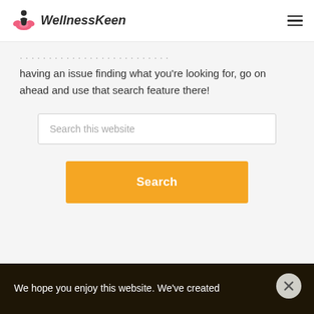WellnessKeen
having an issue finding what you're looking for, go on ahead and use that search feature there!
[Figure (screenshot): Search input box with placeholder text 'Search this website']
[Figure (screenshot): Orange Search button]
We hope you enjoy this website. We've created